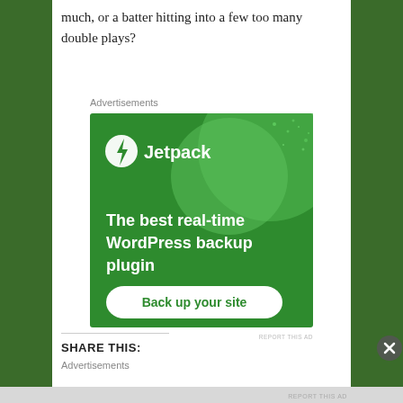much, or a batter hitting into a few too many double plays?
Advertisements
[Figure (infographic): Jetpack advertisement showing green background with large circle graphic, Jetpack logo (lightning bolt in circle), text 'The best real-time WordPress backup plugin', and a 'Back up your site' button]
REPORT THIS AD
SHARE THIS:
Advertisements
REPORT THIS AD